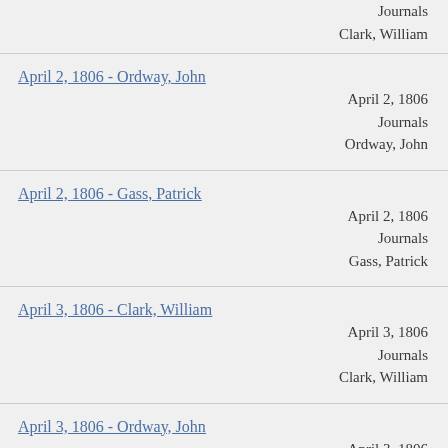Journals
Clark, William
April 2, 1806 - Ordway, John
April 2, 1806
Journals
Ordway, John
April 2, 1806 - Gass, Patrick
April 2, 1806
Journals
Gass, Patrick
April 3, 1806 - Clark, William
April 3, 1806
Journals
Clark, William
April 3, 1806 - Ordway, John
April 3, 1806
Journals